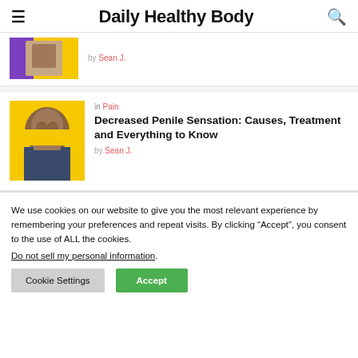Daily Healthy Body
[Figure (photo): Thumbnail image with purple and yellow background showing a person]
by Sean J.
in Pain
[Figure (photo): Person holding their head in distress on yellow background]
Decreased Penile Sensation: Causes, Treatment and Everything to Know
by Sean J.
We use cookies on our website to give you the most relevant experience by remembering your preferences and repeat visits. By clicking “Accept”, you consent to the use of ALL the cookies.
Do not sell my personal information.